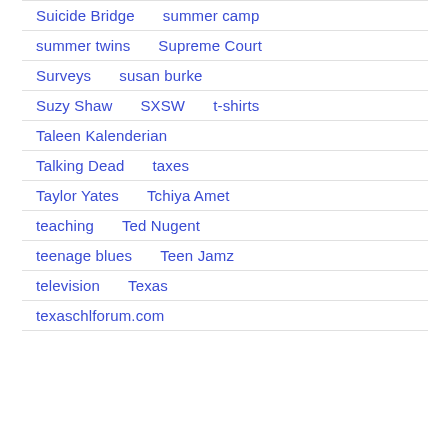Suicide Bridge   summer camp
summer twins   Supreme Court
Surveys   susan burke
Suzy Shaw   SXSW   t-shirts
Taleen Kalenderian
Talking Dead   taxes
Taylor Yates   Tchiya Amet
teaching   Ted Nugent
teenage blues   Teen Jamz
television   Texas
texaschlforum.com